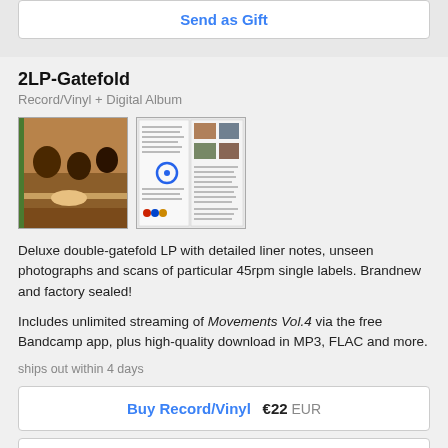Send as Gift
2LP-Gatefold
Record/Vinyl + Digital Album
[Figure (photo): Two thumbnail images of the 2LP-Gatefold product: left shows album cover photo of people at a table, right shows a gatefold liner notes spread with blue circle detail]
Deluxe double-gatefold LP with detailed liner notes, unseen photographs and scans of particular 45rpm single labels. Brandnew and factory sealed!
Includes unlimited streaming of Movements Vol.4 via the free Bandcamp app, plus high-quality download in MP3, FLAC and more.
ships out within 4 days
Buy Record/Vinyl  €22 EUR
Send as Gift
CD
Compact Disc (CD) + Digital Album